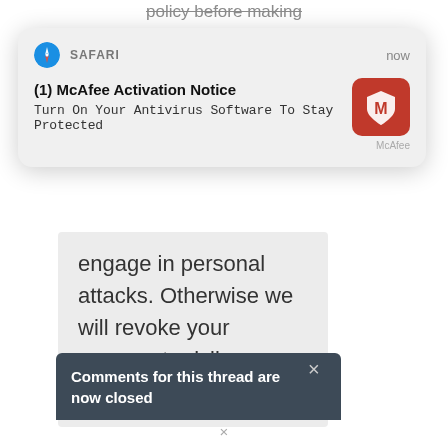policy before making
[Figure (screenshot): Safari browser notification overlay showing McAfee Activation Notice with text 'Turn On Your Antivirus Software To Stay Protected' and McAfee logo icon on the right]
engage in personal attacks. Otherwise we will revoke your comment privileges.
Comments for this thread are now closed
×